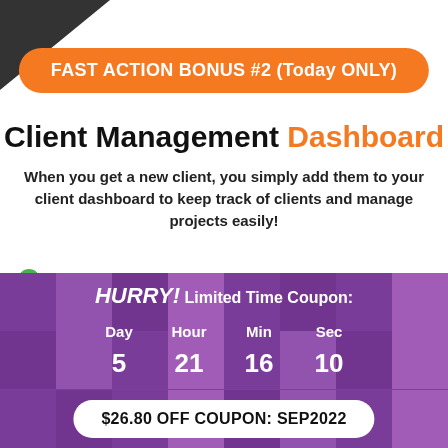FAST ACTION BONUS #2 (Today ONLY)
Client Management Dashboard
When you get a new client, you simply add them to your client dashboard to keep track of clients and manage projects easily!
You can add, edit and remove clients that you've finished working with too.
HURRY! Limited Time Coupon:
Day 5  Hour 21  Min 16  Sec 10
$26.80 OFF COUPON: SEP2022